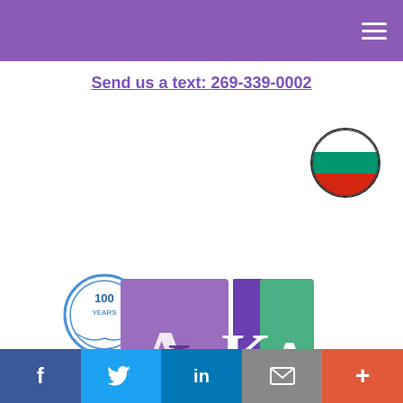≡
Send us a text: 269-339-0002
[Figure (illustration): Bulgarian flag in a circular frame]
[Figure (logo): AllenHarmon Insurance and Kozhuharov Agency logos side by side, with a 100 Years badge]
type of tool is ideal not just because it works to protect your loved ones if you should die suddenly, but because it gives you control over some of your [money after your...]
[Figure (illustration): Accessibility icon (person in circle)]
f  [Twitter bird]  in  [envelope]  +